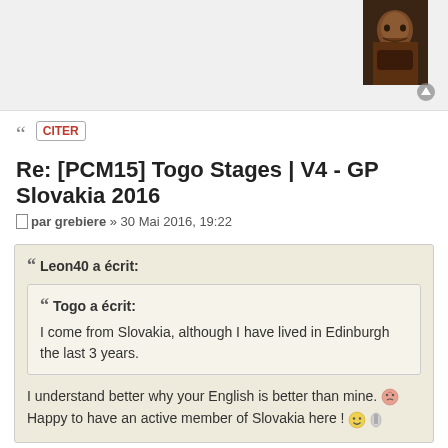[Figure (photo): Top bar with user avatar photo (dark bearded face) in upper right corner]
CITER (cite button)
Re: [PCM15] Togo Stages | V4 - GP Slovakia 2016
par grebiere » 30 Mai 2016, 19:22
Leon40 a écrit:
Togo a écrit:
I come from Slovakia, although I have lived in Edinburgh the last 3 years.
I understand better why your English is better than mine. [emoji]
Happy to have an active member of Slovakia here ! [emoji]
Better than most people here (even if french people are not known for their foreign languages level [emoji] )
Happy and proud to count another country among PCM France members.